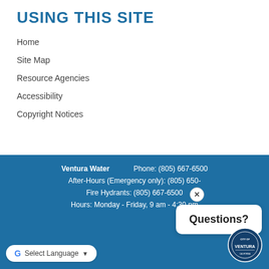USING THIS SITE
Home
Site Map
Resource Agencies
Accessibility
Copyright Notices
Ventura Water | Phone: (805) 667-6500 | After-Hours (Emergency only): (805) 650-... | Fire Hydrants: (805) 667-6500 | Hours: Monday - Friday, 9 am - 4:30 pm
[Figure (logo): City of Ventura circular seal logo]
[Figure (screenshot): Questions? popup with close button and Google Translate selector]